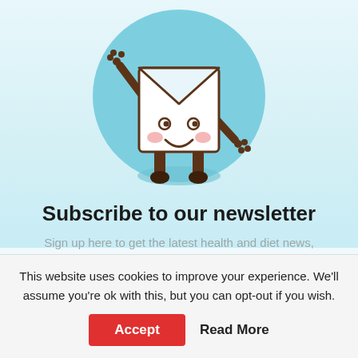[Figure (illustration): Cute cartoon envelope character with a smiley face, arms, legs, and hands waving, on a teal circular background]
Subscribe to our newsletter
Sign up here to get the latest health and diet news, updates and special offers delivered directly to your inbox.
This website uses cookies to improve your experience. We'll assume you're ok with this, but you can opt-out if you wish.
Accept  Read More